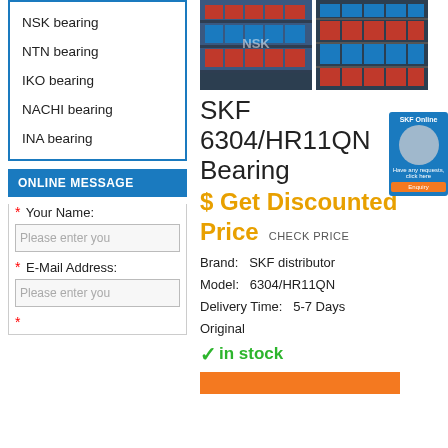NSK bearing
NTN bearing
IKO bearing
NACHI bearing
INA bearing
ONLINE MESSAGE
* Your Name:
Please enter you
* E-Mail Address:
Please enter you
[Figure (photo): Two photos of warehouse shelves stocked with bearing boxes]
SKF 6304/HR11QN Bearing
$ Get Discounted Price  CHECK PRICE
Brand: SKF distributor
Model: 6304/HR11QN
Delivery Time: 5-7 Days
Original
✓ in stock